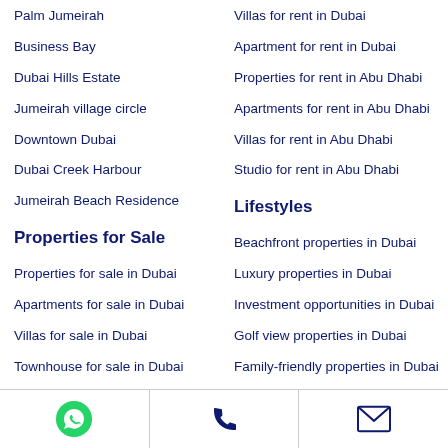Palm Jumeirah
Business Bay
Dubai Hills Estate
Jumeirah village circle
Downtown Dubai
Dubai Creek Harbour
Jumeirah Beach Residence
Properties for Sale
Properties for sale in Dubai
Apartments for sale in Dubai
Villas for sale in Dubai
Townhouse for sale in Dubai
Villas for sale in Abu Dhabi
Studio for sale in Abu Dhabi
Villas for rent in Dubai
Apartment for rent in Dubai
Properties for rent in Abu Dhabi
Apartments for rent in Abu Dhabi
Villas for rent in Abu Dhabi
Studio for rent in Abu Dhabi
Lifestyles
Beachfront properties in Dubai
Luxury properties in Dubai
Investment opportunities in Dubai
Golf view properties in Dubai
Family-friendly properties in Dubai
Pet-friendly properties in